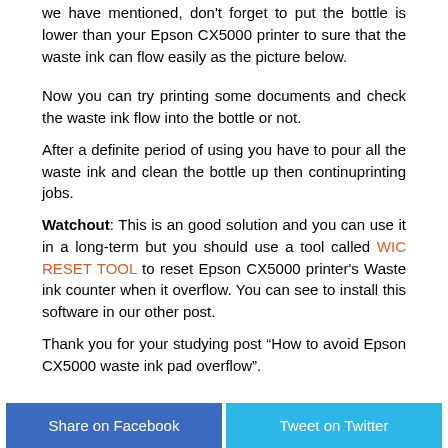we have mentioned, don't forget to put the bottle is lower than your Epson CX5000 printer to sure that the waste ink can flow easily as the picture below.
Now you can try printing some documents and check the waste ink flow into the bottle or not.
After a definite period of using you have to pour all the waste ink and clean the bottle up then continuprinting jobs.
Watchout: This is an good solution and you can use it in a long-term but you should use a tool called WIC RESET TOOL to reset Epson CX5000 printer's Waste ink counter when it overflow. You can see to install this software in our other post.
Thank you for your studying post “How to avoid Epson CX5000 waste ink pad overflow”.